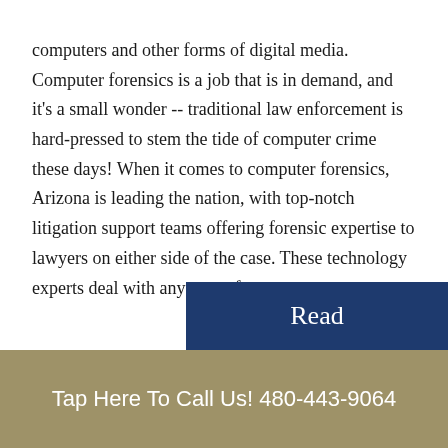computers and other forms of digital media. Computer forensics is a job that is in demand, and it's a small wonder -- traditional law enforcement is hard-pressed to stem the tide of computer crime these days! When it comes to computer forensics, Arizona is leading the nation, with top-notch litigation support teams offering forensic expertise to lawyers on either side of the case. These technology experts deal with any type of...
Read
Tap Here To Call Us! 480-443-9064